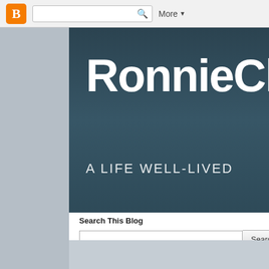[Figure (screenshot): Blogger navigation bar with orange B icon, search box, and More dropdown]
RonnieChr
A LIFE WELL-LIVED
Search This Blog
Tuesday, M
Heret
Sadly,
that m